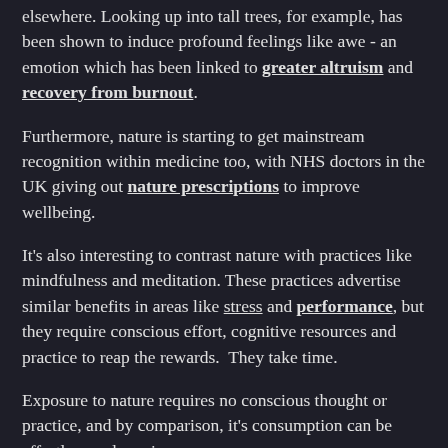elsewhere. Looking up into tall trees, for example, has been shown to induce profound feelings like awe - an emotion which has been linked to greater altruism and recovery from burnout.
Furthermore, nature is starting to get mainstream recognition within medicine too, with NHS doctors in the UK giving out nature prescriptions to improve wellbeing.
It's also interesting to contrast nature with practices like mindfulness and meditation. These practices advertise similar benefits in areas like stress and performance, but they require conscious effort, cognitive resources and practice to reap the rewards.  They take time.
Exposure to nature requires no conscious thought or practice, and by comparison, it's consumption can be effortless and passive.